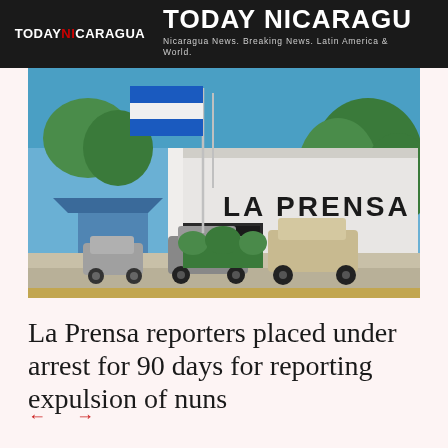TODAY NICARAGUA — Nicaragua News. Breaking News. Latin America & World.
[Figure (photo): Exterior of La Prensa newspaper building in Nicaragua, with the name 'LA PRENSA' visible on the white building facade, a Nicaraguan flag flying in the foreground, green hedges, and cars parked outside under a blue sky.]
La Prensa reporters placed under arrest for 90 days for reporting expulsion of nuns